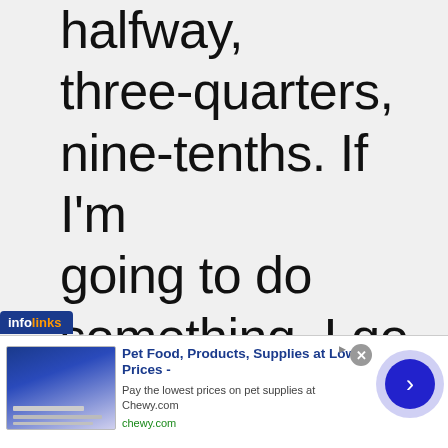halfway, three-quarters, nine-tenths. If I'm going to do something, I go all the way.
[Figure (other): Infolinks advertisement banner for Chewy.com pet supplies. Contains infolinks logo, ad image placeholder, title 'Pet Food, Products, Supplies at Low Prices -', subtitle 'Pay the lowest prices on pet supplies at Chewy.com', URL 'chewy.com', close button, and navigation arrow button.]